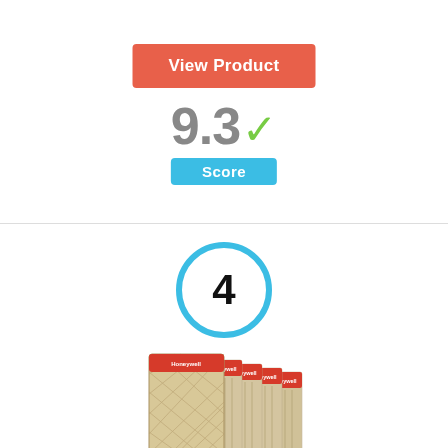[Figure (other): Orange/coral 'View Product' button]
[Figure (infographic): Score display showing 9.3 with green checkmark and blue 'Score' badge]
[Figure (infographic): Ranking circle with number 4, blue circular border]
[Figure (photo): Product image of Honeywell air filters stacked side by side, showing 5 filters in beige/tan color with red Honeywell branding]